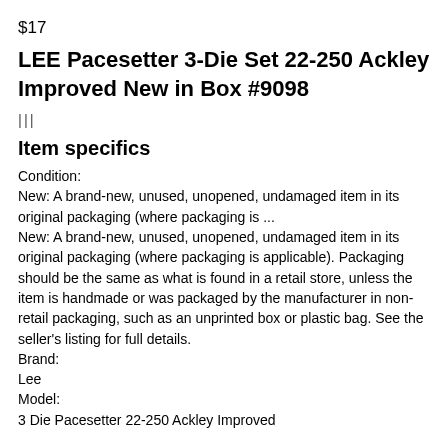$17
LEE Pacesetter 3-Die Set 22-250 Ackley Improved New in Box #9098
|||
Item specifics
Condition:
New: A brand-new, unused, unopened, undamaged item in its original packaging (where packaging is ...
New: A brand-new, unused, unopened, undamaged item in its original packaging (where packaging is applicable). Packaging should be the same as what is found in a retail store, unless the item is handmade or was packaged by the manufacturer in non-retail packaging, such as an unprinted box or plastic bag. See the seller's listing for full details.
Brand:
Lee
Model:
3 Die Pacesetter 22-250 Ackley Improved